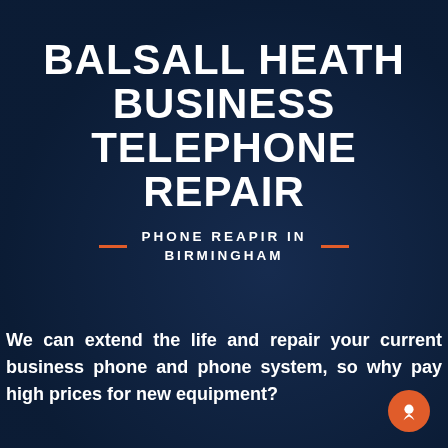BALSALL HEATH BUSINESS TELEPHONE REPAIR
PHONE REAPIR IN BIRMINGHAM
We can extend the life and repair your current business phone and phone system, so why pay high prices for new equipment?